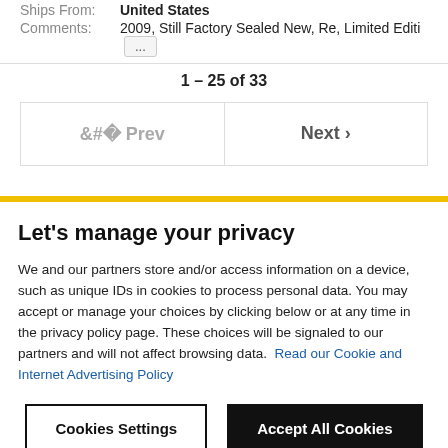Ships From: United States
Comments: 2009, Still Factory Sealed New, Re, Limited Editi ...
1 – 25 of 33
< Prev   Next >
Let's manage your privacy
We and our partners store and/or access information on a device, such as unique IDs in cookies to process personal data. You may accept or manage your choices by clicking below or at any time in the privacy policy page. These choices will be signaled to our partners and will not affect browsing data. Read our Cookie and Internet Advertising Policy
Cookies Settings
Accept All Cookies